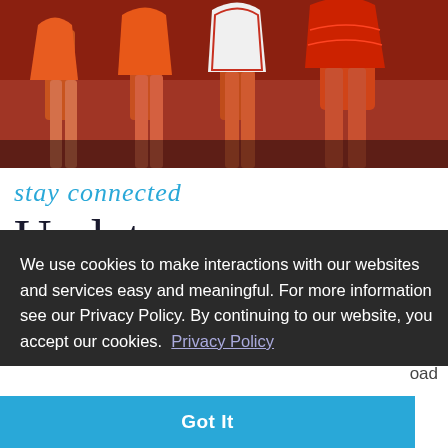[Figure (photo): Partial photo showing legs of several people wearing orange/red outfits and skirts, standing on a patterned floor]
stay connected
Update Information
We use cookies to make interactions with our websites and services easy and meaningful. For more information see our Privacy Policy. By continuing to our website, you accept our cookies.  Privacy Policy
Got It